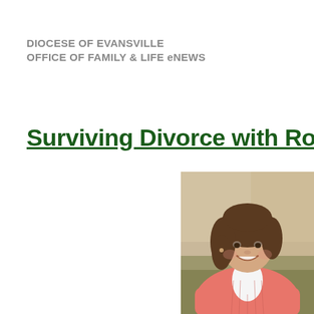DIOCESE OF EVANSVILLE
OFFICE OF FAMILY & LIFE eNEWS
Surviving Divorce with Rose Sw
[Figure (photo): Portrait photo of a smiling woman with short brown hair wearing a salmon/coral colored cardigan sweater, seated indoors with a blurred background.]